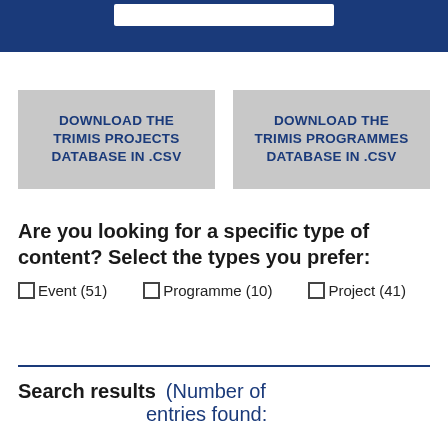[Figure (screenshot): Dark blue navigation bar at top with white search bar element]
DOWNLOAD THE TRIMIS PROJECTS DATABASE IN .CSV
DOWNLOAD THE TRIMIS PROGRAMMES DATABASE IN .CSV
Are you looking for a specific type of content? Select the types you prefer:
Event (51)
Programme (10)
Project (41)
Search results (Number of entries found: